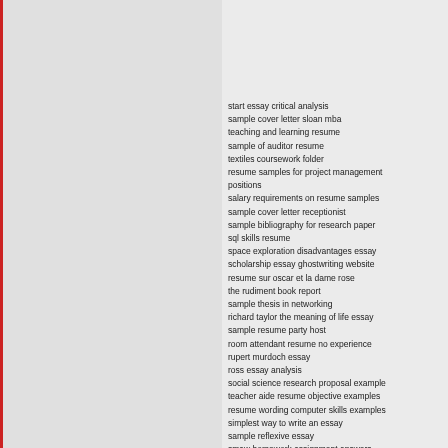start essay critical analysis
sample cover letter sloan mba
teaching and learning resume
sample of auditor resume
textiles coursework folder
resume samples for project management positions
salary requirements on resume samples
sample cover letter receptionist
sample bibliography for research paper
sql skills resume
space exploration disadvantages essay
scholarship essay ghostwriting website
resume sur oscar et la dame rose
the rudiment book report
sample thesis in networking
richard taylor the meaning of life essay
sample resume party host
room attendant resume no experience
rupert murdoch essay
ross essay analysis
social science research proposal example
teacher aide resume objective examples
resume wording computer skills examples
simplest way to write an essay
sample reflexive essay
smaw homework assignment answers
term papers on kansas
sujet de dissertation sur la culture
sample literature review education